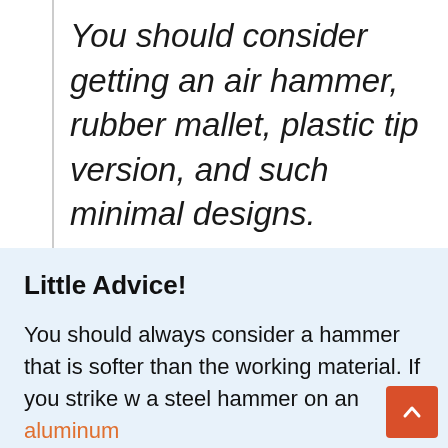You should consider getting an air hammer, rubber mallet, plastic tip version, and such minimal designs.
Little Advice!
You should always consider a hammer that is softer than the working material. If you strike w a steel hammer on an aluminum